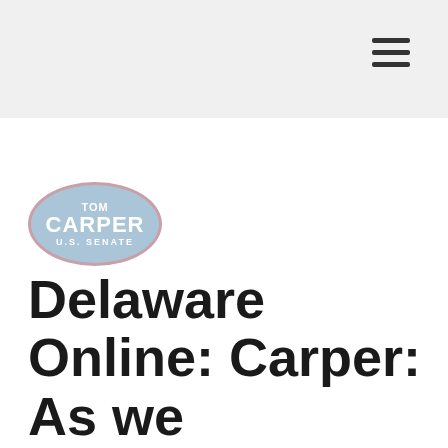[Figure (logo): Tom Carper U.S. Senate oval logo with light blue background and pink border]
Delaware Online: Carper: As we remember fallen heroes, thank a new generation of warriors keeping us